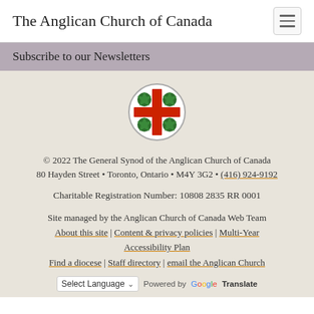The Anglican Church of Canada
Subscribe to our Newsletters
[Figure (logo): Anglican Church of Canada cross logo: red cross with green maple leaves in a circular white/grey border]
© 2022 The General Synod of the Anglican Church of Canada
80 Hayden Street • Toronto, Ontario • M4Y 3G2 • (416) 924-9192
Charitable Registration Number: 10808 2835 RR 0001
Site managed by the Anglican Church of Canada Web Team
About this site | Content & privacy policies | Multi-Year Accessibility Plan
Find a diocese | Staff directory | email the Anglican Church
Select Language  Powered by Google Translate